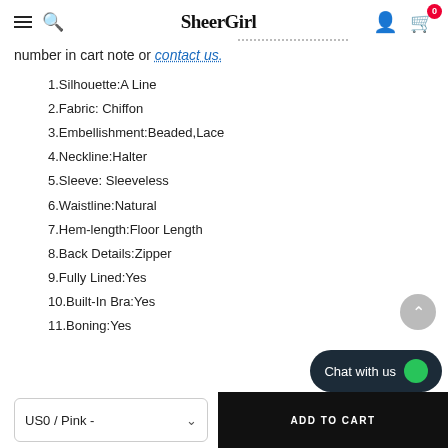SheerGirl
number in cart note or contact us.
1.Silhouette:A Line
2.Fabric: Chiffon
3.Embellishment:Beaded,Lace
4.Neckline:Halter
5.Sleeve: Sleeveless
6.Waistline:Natural
7.Hem-length:Floor Length
8.Back Details:Zipper
9.Fully Lined:Yes
10.Built-In Bra:Yes
11.Boning:Yes
US0 / Pink -
ADD TO CART
Chat with us